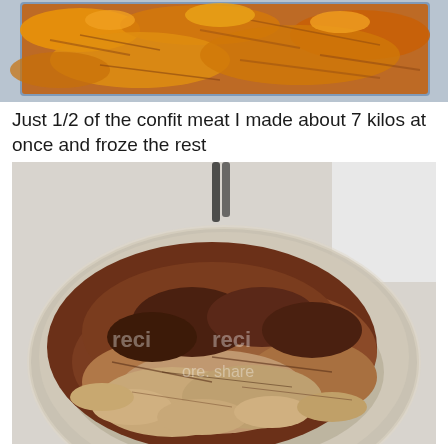[Figure (photo): Top portion of a baked casserole dish with melted orange cheese and shredded meat visible, cropped at top of page]
Just 1/2 of the confit meat I made about 7 kilos at once and froze the rest
[Figure (photo): A large plate piled with pulled/shredded confit meat pieces in various shades of brown, placed on what appears to be a round plate on a surface with white background visible]